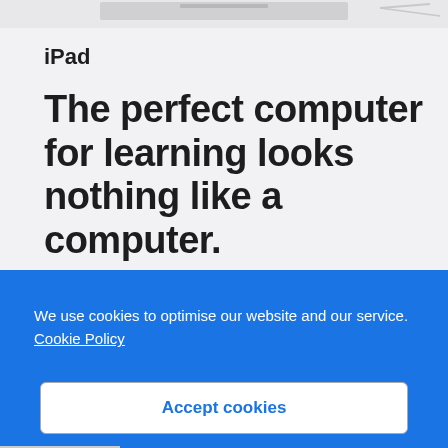[Figure (photo): Partial view of an iPad with Apple Pencil, cropped at the top of the page showing just the top edge of the device against a light gray background]
iPad
The perfect computer for learning looks nothing like a computer.
We use cookies to optimise our website and our service.  Cookie Policy
Accept cookies